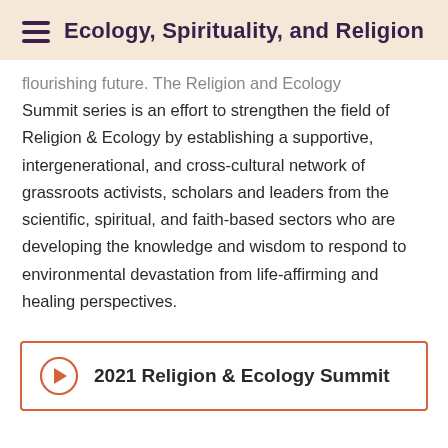Ecology, Spirituality, and Religion
flourishing future. The Religion and Ecology Summit series is an effort to strengthen the field of Religion & Ecology by establishing a supportive, intergenerational, and cross-cultural network of grassroots activists, scholars and leaders from the scientific, spiritual, and faith-based sectors who are developing the knowledge and wisdom to respond to environmental devastation from life-affirming and healing perspectives.
2021 Religion & Ecology Summit